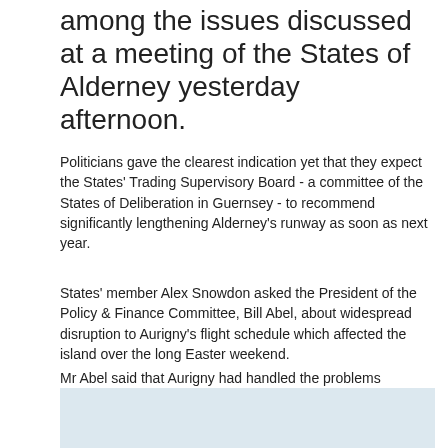among the issues discussed at a meeting of the States of Alderney yesterday afternoon.
Politicians gave the clearest indication yet that they expect the States' Trading Supervisory Board - a committee of the States of Deliberation in Guernsey - to recommend significantly lengthening Alderney's runway as soon as next year.
States' member Alex Snowdon asked the President of the Policy & Finance Committee, Bill Abel, about widespread disruption to Aurigny's flight schedule which affected the island over the long Easter weekend.
Mr Abel said that Aurigny had handled the problems "competently" and in particular praised the company's communications. But he added that "this significant outage underlines our concern with regard to the resilience of the current two-plane strategy".
[Figure (photo): Partial photo visible at bottom of page, light blue/grey sky background]